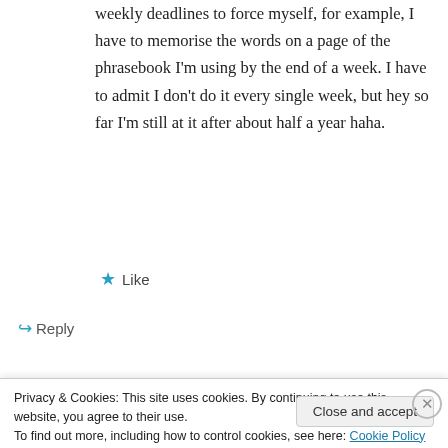weekly deadlines to force myself, for example, I have to memorise the words on a page of the phrasebook I'm using by the end of a week. I have to admit I don't do it every single week, but hey so far I'm still at it after about half a year haha.
★ Like
↪ Reply
John Brito on December 10. 2013 at 17:00
Privacy & Cookies: This site uses cookies. By continuing to use this website, you agree to their use.
To find out more, including how to control cookies, see here: Cookie Policy
Close and accept